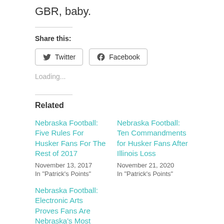GBR, baby.
Share this:
Twitter
Facebook
Loading...
Related
Nebraska Football: Five Rules For Husker Fans For The Rest of 2017
November 13, 2017
In "Patrick's Points"
Nebraska Football: Ten Commandments for Husker Fans After Illinois Loss
November 21, 2020
In "Patrick's Points"
Nebraska Football: Electronic Arts Proves Fans Are Nebraska's Most